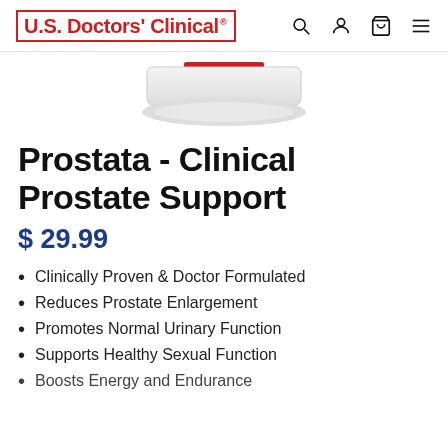U.S. Doctors' Clinical
[Figure (photo): Bottom portion of a white round supplement container/bottle visible at the top of the product page]
Prostata - Clinical Prostate Support
$ 29.99
Clinically Proven & Doctor Formulated
Reduces Prostate Enlargement
Promotes Normal Urinary Function
Supports Healthy Sexual Function
Boosts Energy and Endurance